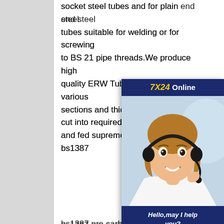socket steel tubes and for plain end steel tubes suitable for welding or for screwing to BS 21 pipe threads.We produce high quality ERW Tubes / Pipes in various sections and thickness.Steel Strip is cut into required width slitting machines and fed supreme quality carbon steel bs1387
[Figure (other): Online chat widget with '7X24 Online' header in dark blue, a photo of a woman with a headset smiling, and a 'Hello, may I help you?' message with a yellow 'Get Latest Price' button.]
bs1387 pre carbon steel pipe bs1387 carbon steel pipe
galvanized steel pipes class c, galvanized steel pipes supreme quality carbon steel pipe bs1387
The usual standards we often supply include BS1387,ASTM A53, API 5L,